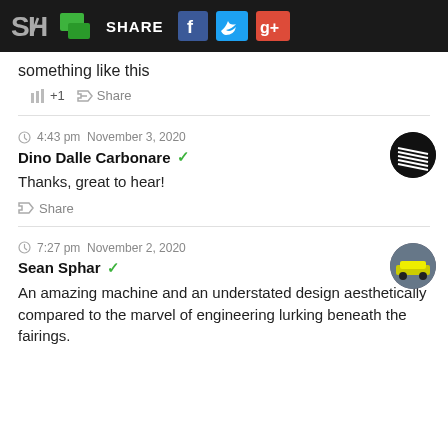SH SHARE [Facebook] [Twitter] [Google+]
something like this
+1  Share
4:43 pm  November 3, 2020
Dino Dalle Carbonare ✓
Thanks, great to hear!
Share
7:27 pm  November 2, 2020
Sean Sphar ✓
An amazing machine and an understated design aesthetically compared to the marvel of engineering lurking beneath the fairings.